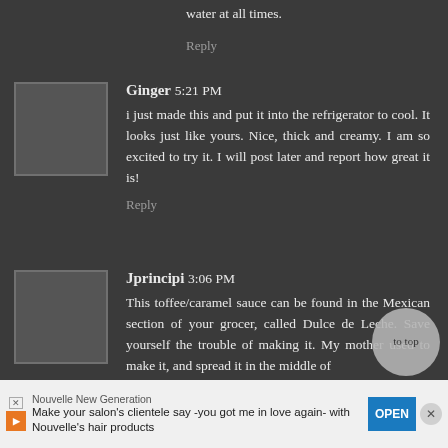water at all times.
Reply
Ginger 5:21 PM
i just made this and put it into the refrigerator to cool. It looks just like yours. Nice, thick and creamy. I am so excited to try it. I will post later and report how great it is!
Reply
Jprincipi 3:06 PM
This toffee/caramel sauce can be found in the Mexican section of your grocer, called Dulce de Leche. Save yourself the trouble of making it. My mother used to make it, and spread it in the middle of
Nouvelle New Generation
Make your salon's clientele say -you got me in love again- with Nouvelle's hair products